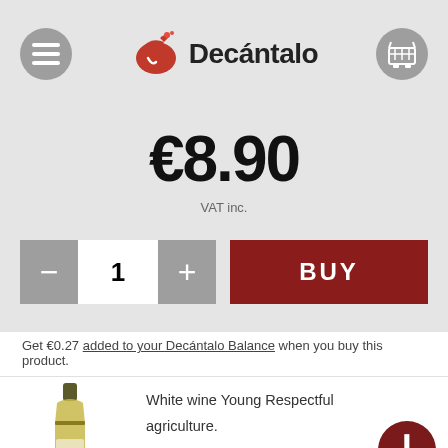Decántalo
€8.90
VAT inc.
- 1 + BUY
Get €0.27 added to your Decántalo Balance when you buy this product.
White wine Young Respectful agriculture.
Type of grape: 100% Chardonnay
Winery: Enate
Type of grape: Chardonnay
Designation: D.O. Somontano